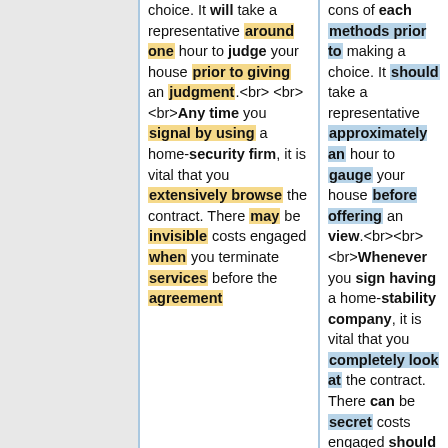choice. It will take a representative around one hour to judge your house prior to giving an judgment.<br><br><br>Any time you signal by using a home-security firm, it is vital that you extensively browse the contract. There may be invisible costs engaged when you terminate services before the agreement
cons of each methods prior to making a choice. It should take a representative approximately an hour to gauge your house before offering an view.<br><br><br>Whenever you sign having a home-stability company, it is vital that you completely look at the contract. There can be secret costs engaged should you terminate